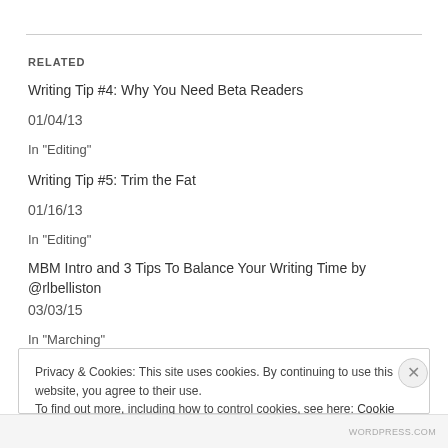RELATED
Writing Tip #4: Why You Need Beta Readers
01/04/13
In "Editing"
Writing Tip #5: Trim the Fat
01/16/13
In "Editing"
MBM Intro and 3 Tips To Balance Your Writing Time by @rlbelliston
03/03/15
In "Marching"
Privacy & Cookies: This site uses cookies. By continuing to use this website, you agree to their use. To find out more, including how to control cookies, see here: Cookie Policy
Close and accept
WORDPRESS.COM